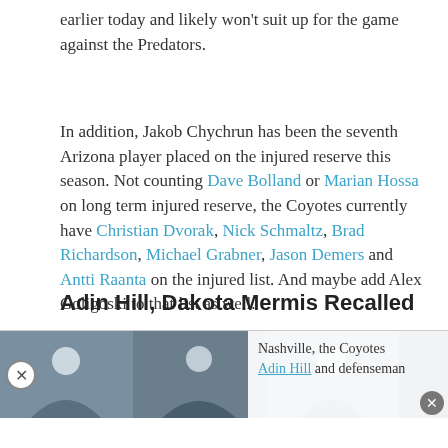earlier today and likely won't suit up for the game against the Predators.
In addition, Jakob Chychrun has been the seventh Arizona player placed on the injured reserve this season. Not counting Dave Bolland or Marian Hossa on long term injured reserve, the Coyotes currently have Christian Dvorak, Nick Schmaltz, Brad Richardson, Michael Grabner, Jason Demers and Antti Raanta on the injured list. And maybe add Alex Goligoski to that list as well.
Adin Hill, Dakota Mermis Recalled
[Figure (photo): Ad overlay with four hockey player photos and partial text: 'Nashville, the Coyotes Adin Hill and defenseman'. Close buttons visible on left and bottom-right.]